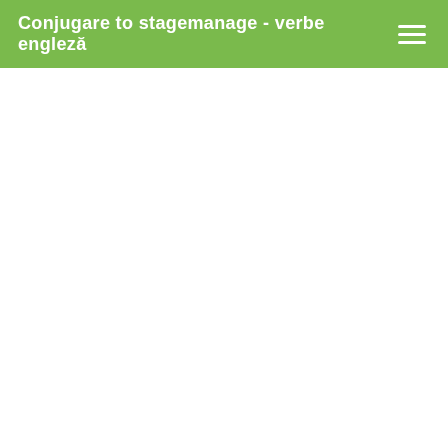Conjugare to stagemanage - verbe engleză